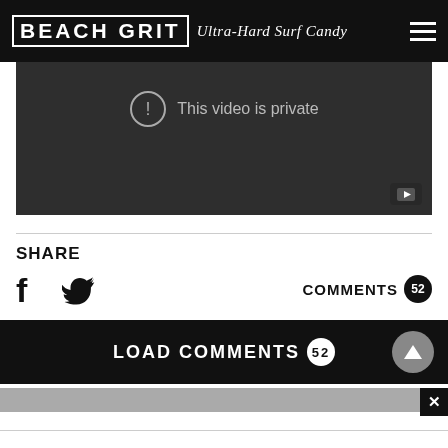BEACH GRIT Ultra-Hard Surf Candy
[Figure (screenshot): YouTube embedded video player showing 'This video is private' error message on dark background with YouTube logo button in bottom right corner]
SHARE
Facebook and Twitter share icons, COMMENTS 52
LOAD COMMENTS 52